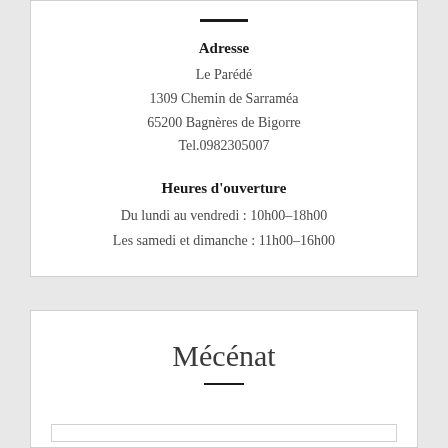Adresse
Le Parédé
1309 Chemin de Sarraméa
65200 Bagnères de Bigorre
Tel.0982305007
Heures d'ouverture
Du lundi au vendredi : 10h00–18h00
Les samedi et dimanche : 11h00–16h00
Mécénat